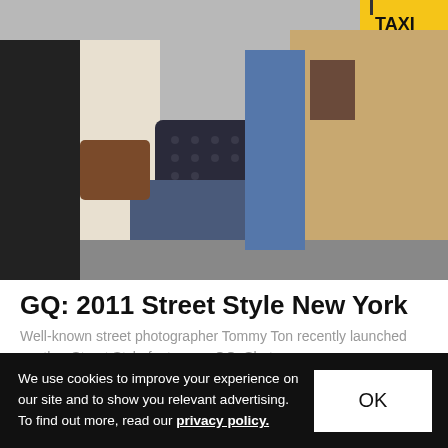[Figure (photo): Street style photo showing people walking, one holding a dark patterned clutch bag, another holding a drink, with a yellow taxi cab visible in the background]
GQ: 2011 Street Style New York
Well-known street photographer Tommy Ton recently launched another Street Style feature on GQ. Shot
Fashion   Sep 9, 2011   🔥 186   💬 0
[Figure (photo): Partial photo showing a person with dark hair against a green background]
We use cookies to improve your experience on our site and to show you relevant advertising. To find out more, read our privacy policy.